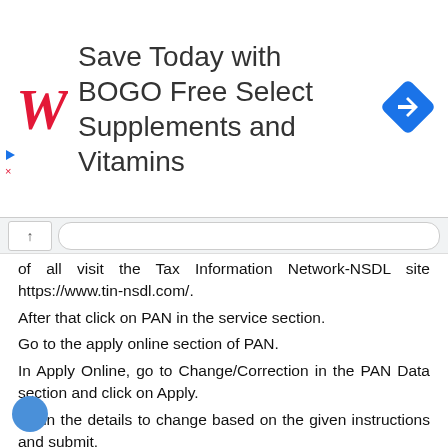[Figure (infographic): Walgreens advertisement banner: Save Today with BOGO Free Select Supplements and Vitamins, with Walgreens red cursive W logo and a blue diamond navigation/direction icon]
of all visit the Tax Information Network-NSDL site https://www.tin-nsdl.com/.
After that click on PAN in the service section.
Go to the apply online section of PAN.
In Apply Online, go to Change/Correction in the PAN Data section and click on Apply.
Fill in the details to change based on the given instructions and submit.
Documents like age proof, address proof, identity proof have to be uploaded on the new page. After that upload your photo and sign. Once everything is done, preview the form. Check that all the information you have entered is correct. After that pay the fees.